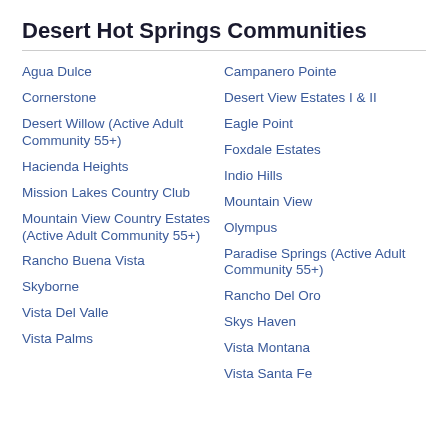Desert Hot Springs Communities
Agua Dulce
Campanero Pointe
Cornerstone
Desert View Estates I & II
Desert Willow (Active Adult Community 55+)
Eagle Point
Foxdale Estates
Hacienda Heights
Indio Hills
Mission Lakes Country Club
Mountain View
Mountain View Country Estates (Active Adult Community 55+)
Olympus
Paradise Springs (Active Adult Community 55+)
Rancho Buena Vista
Rancho Del Oro
Skyborne
Skys Haven
Vista Del Valle
Vista Montana
Vista Palms
Vista Santa Fe